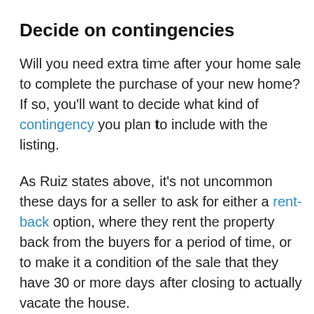Decide on contingencies
Will you need extra time after your home sale to complete the purchase of your new home? If so, you’ll want to decide what kind of contingency you plan to include with the listing.
As Ruiz states above, it’s not uncommon these days for a seller to ask for either a rent-back option, where they rent the property back from the buyers for a period of time, or to make it a condition of the sale that they have 30 or more days after closing to actually vacate the house.